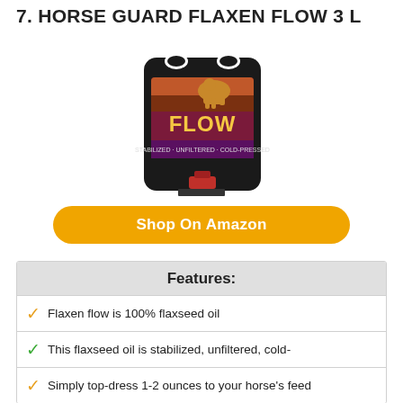7. HORSE GUARD FLAXEN FLOW 3 L
[Figure (photo): Product image of Horse Guard Flaxen Flow 3L black bag/pouch with a label showing a horse and the word FLOW, with a red spout at the bottom.]
Shop On Amazon
| Features: |
| --- |
| ✓ Flaxen flow is 100% flaxseed oil |
| ✓ This flaxseed oil is stabilized, unfiltered, cold- |
| ✓ Simply top-dress 1-2 ounces to your horse's feed |
8. UCKELE COCOSOYA GRANULAR